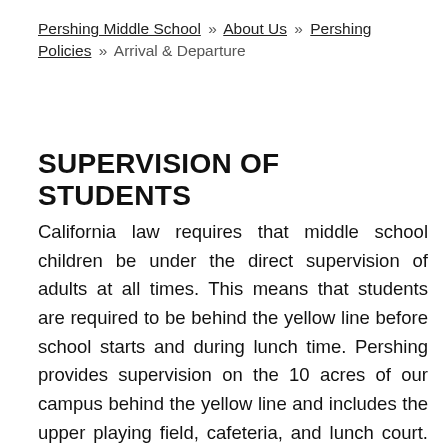Pershing Middle School » About Us » Pershing Policies » Arrival & Departure
SUPERVISION OF STUDENTS
California law requires that middle school children be under the direct supervision of adults at all times. This means that students are required to be behind the yellow line before school starts and during lunch time. Pershing provides supervision on the 10 acres of our campus behind the yellow line and includes the upper playing field, cafeteria, and lunch court. Students with passes are permitted to move about the campus during specific times. There is no supervision 20 minutes before the first bell and 20 minutes after the last bell of the day.